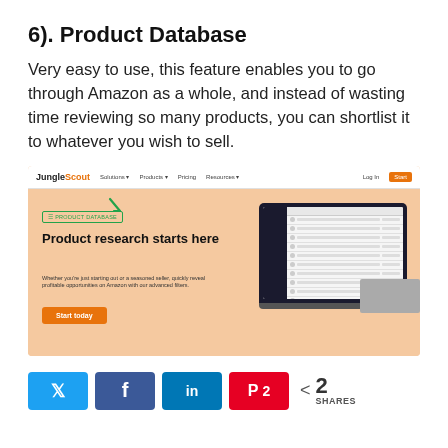6). Product Database
Very easy to use, this feature enables you to go through Amazon as a whole, and instead of wasting time reviewing so many products, you can shortlist it to whatever you wish to sell.
[Figure (screenshot): JungleScout website screenshot showing the Product Database feature page with hero text 'Product research starts here', a Start today CTA button, and a laptop mockup showing a product database table.]
[Figure (infographic): Social sharing bar with Twitter, Facebook, LinkedIn, Pinterest (showing 2 saves), and a share count of 2 SHARES.]